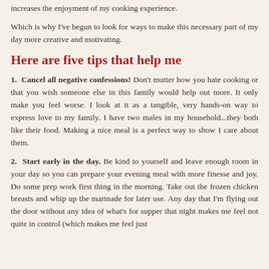increases the enjoyment of my cooking experience.
Which is why I've begun to look for ways to make this necessary part of my day more creative and motivating.
Here are five tips that help me
1. Cancel all negative confessions! Don't mutter how you hate cooking or that you wish someone else in this family would help out more. It only make you feel worse. I look at it as a tangible, very hands-on way to express love to my family. I have two males in my household...they both like their food. Making a nice meal is a perfect way to show I care about them.
2. Start early in the day. Be kind to yourself and leave enough room in your day so you can prepare your evening meal with more finesse and joy. Do some prep work first thing in the morning. Take out the frozen chicken breasts and whip up the marinade for later use. Any day that I'm flying out the door without any idea of what's for supper that night makes me feel not quite in control (which makes me feel just